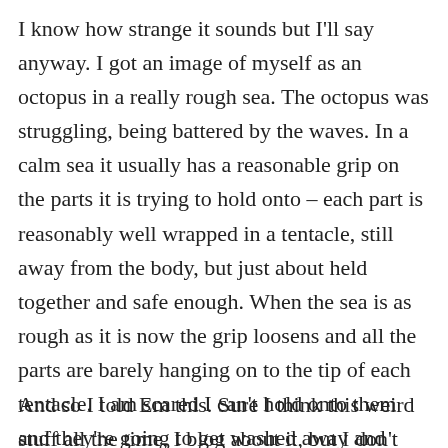I know how strange it sounds but I'll say anyway. I got an image of myself as an octopus in a really rough sea. The octopus was struggling, being battered by the waves. In a calm sea it usually has a reasonable grip on the parts it is trying to hold onto – each part is reasonably well wrapped in a tentacle, still away from the body, but just about held together and safe enough. When the sea is as rough as it is now the grip loosens and all the parts are barely hanging on to the tip of each tentacle. I am scared I can't hold onto them and they're going to get washed away and drown. I know it's weird. But essentially when there's a storm (the break) adult me feels like I can't contain all my vulnerable parts....
And so I told Em this. Sure I think this weird stuff all the time, I blog about it, but I don't always share this kind of